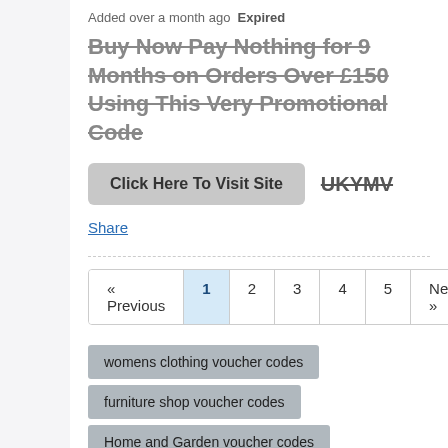Added over a month ago  Expired
Buy Now Pay Nothing for 9 Months on Orders Over £150 Using This Very Promotional Code
Click Here To Visit Site  UKYMV
Share
« Previous  1  2  3  4  5  Next »
womens clothing voucher codes
furniture shop voucher codes
Home and Garden voucher codes
Fashion stockists
very online store stockists
Electronics stockists
Home and Garden stockists